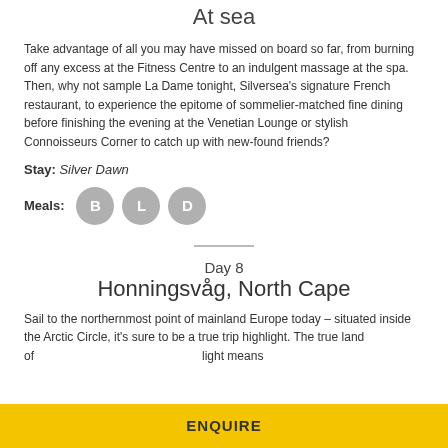At sea
Take advantage of all you may have missed on board so far, from burning off any excess at the Fitness Centre to an indulgent massage at the spa. Then, why not sample La Dame tonight, Silversea's signature French restaurant, to experience the epitome of sommelier-matched fine dining before finishing the evening at the Venetian Lounge or stylish Connoisseurs Corner to catch up with new-found friends?
Stay: Silver Dawn
Meals: B L D
Day 8
Honningsvåg, North Cape
Sail to the northernmost point of mainland Europe today – situated inside the Arctic Circle, it's sure to be a true trip highlight. The true land of ... light means
ENQUIRE